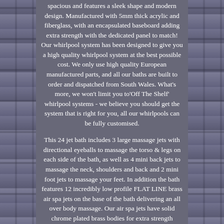spacious and features a sleek shape and modern design. Manufactured with 5mm thick acrylic and fiberglass, with an encapsulated baseboard adding extra strength with the dedicated panel to match! Our whirlpool system has been designed to give you a high quality whirlpool system at the best possible cost. We only use high quality European manufactured parts, and all our baths are built to order and dispatched from South Wales. What's more, we won't limit you to'Off The Shelf' whirlpool systems - we believe you should get the system that is right for you, all our whirlpools can be fully customised.
This 24 jet bath includes 3 large massage jets with directional eyeballs to massage the torso & legs on each side of the bath, as well as 4 mini back jets to massage the neck, shoulders and back and 2 mini foot jets to massage your feet. In addition the bath features 12 incredibly low profile FLAT LINE brass air spa jets on the base of the bath delivering an all over body massage. Our air spa jets have solid chrome plated brass bodies for extra strength meaning they are completely safe to stand on when showering.
The slim profile of our jets also means they are